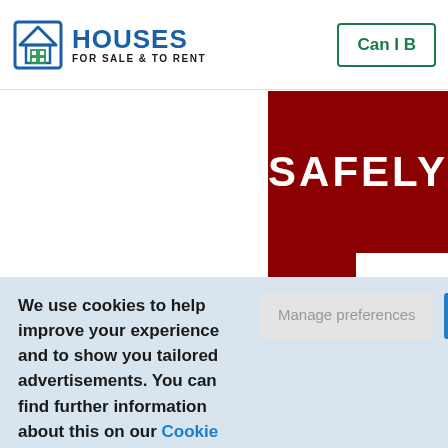HOUSES FOR SALE & TO RENT
[Figure (screenshot): Houses For Sale & To Rent logo with house icon in blue, with 'Can I B' button partially visible in top right corner with green border]
[Figure (screenshot): Dark red/maroon banner with white bold text 'SAFELY']
We use cookies to help improve your experience and to show you tailored advertisements. You can find further information about this on our Cookie Policy.